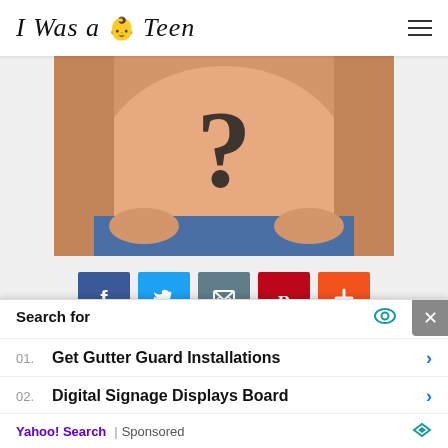I Was a 🍼 Teen
[Figure (photo): Pregnant belly with a large question mark drawn/overlaid on the skin, person wearing blue jeans, hands visible at sides]
[Figure (infographic): Row of 5 social media share buttons: Facebook (blue, f icon), Twitter (light blue, bird icon), Email (grey, envelope icon), Pinterest (dark red, P icon), More/Plus (orange-red, + icon)]
We are searching data for
Search for
01. Get Gutter Guard Installations
02. Digital Signage Displays Board
Yahoo! Search | Sponsored